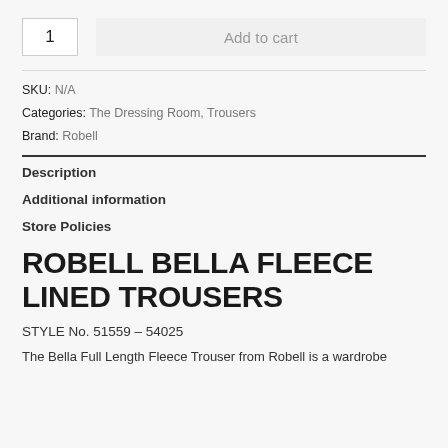1   Add to cart
SKU: N/A
Categories: The Dressing Room, Trousers
Brand: Robell
Description
Additional information
Store Policies
ROBELL BELLA FLEECE LINED TROUSERS
STYLE No. 51559 – 54025
The Bella Full Length Fleece Trouser from Robell is a wardrobe